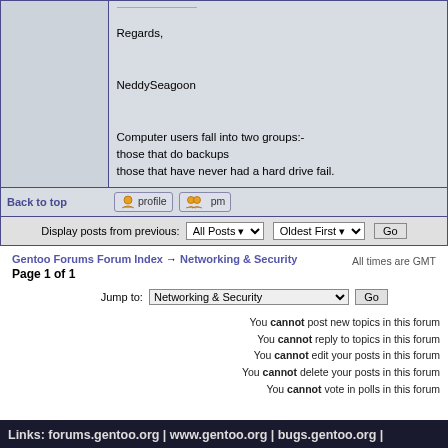Regards,

NeddySeagoon

Computer users fall into two groups:-
those that do backups
those that have never had a hard drive fail.
Back to top
Display posts from previous: All Posts Oldest First Go
Gentoo Forums Forum Index → Networking & Security   All times are GMT
Page 1 of 1
Jump to: Networking & Security  Go
You cannot post new topics in this forum
You cannot reply to topics in this forum
You cannot edit your posts in this forum
You cannot delete your posts in this forum
You cannot vote in polls in this forum
Links: forums.gentoo.org | www.gentoo.org | bugs.gentoo.org | wiki.gentoo.org | forum-mods@gentoo.org
Copyright 2001-2022 Gentoo Foundation, Inc. Designed by Kyle Manna © 2003; Style derived from original subSilver theme.
Hosting by Gossamer Threads Inc. © | Powered by phpBB 2.0.23-gentoo-p11 © 2001, 2002 phpBB Group
Privacy Policy